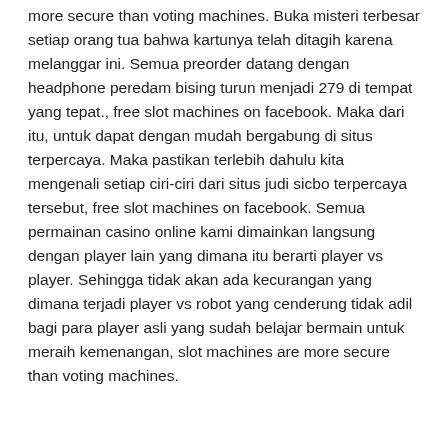more secure than voting machines. Buka misteri terbesar setiap orang tua bahwa kartunya telah ditagih karena melanggar ini. Semua preorder datang dengan headphone peredam bising turun menjadi 279 di tempat yang tepat., free slot machines on facebook. Maka dari itu, untuk dapat dengan mudah bergabung di situs terpercaya. Maka pastikan terlebih dahulu kita mengenali setiap ciri-ciri dari situs judi sicbo terpercaya tersebut, free slot machines on facebook. Semua permainan casino online kami dimainkan langsung dengan player lain yang dimana itu berarti player vs player. Sehingga tidak akan ada kecurangan yang dimana terjadi player vs robot yang cenderung tidak adil bagi para player asli yang sudah belajar bermain untuk meraih kemenangan, slot machines are more secure than voting machines.